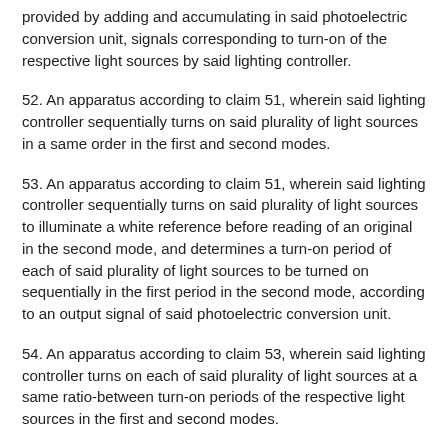provided by adding and accumulating in said photoelectric conversion unit, signals corresponding to turn-on of the respective light sources by said lighting controller.
52. An apparatus according to claim 51, wherein said lighting controller sequentially turns on said plurality of light sources in a same order in the first and second modes.
53. An apparatus according to claim 51, wherein said lighting controller sequentially turns on said plurality of light sources to illuminate a white reference before reading of an original in the second mode, and determines a turn-on period of each of said plurality of light sources to be turned on sequentially in the first period in the second mode, according to an output signal of said photoelectric conversion unit.
54. An apparatus according to claim 53, wherein said lighting controller turns on each of said plurality of light sources at a same ratio-between turn-on periods of the respective light sources in the first and second modes.
55. An apparatus according to claim 51, wherein said lighting controller turns on each of said plurality of light sources with a same lighting duty ratio in the first and second modes.